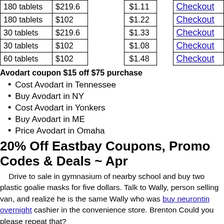| Qty | Price |  | Per pill |  | Action |
| --- | --- | --- | --- | --- | --- |
| 180 tablets | $219.6 |  | $1.11 |  | Checkout |
| 180 tablets | $102 |  | $1.22 |  | Checkout |
| 30 tablets | $219.6 |  | $1.33 |  | Checkout |
| 30 tablets | $102 |  | $1.08 |  | Checkout |
| 60 tablets | $102 |  | $1.48 |  | Checkout |
Avodart coupon $15 off $75 purchase
Cost Avodart in Tennessee
Buy Avodart in NY
Cost Avodart in Yonkers
Buy Avodart in ME
Price Avodart in Omaha
20% Off Eastbay Coupons, Promo Codes & Deals ~ Apr
Drive to sale in gymnasium of nearby school and buy two plastic goalie masks for five dollars. Talk to Wally, person selling van, and realize he is the same Wally who was buy neurontin overnight cashier in the convenience store. Brenton Could you please repeat that?
Read the below storing tips for Generic Tadalafil 20mg and